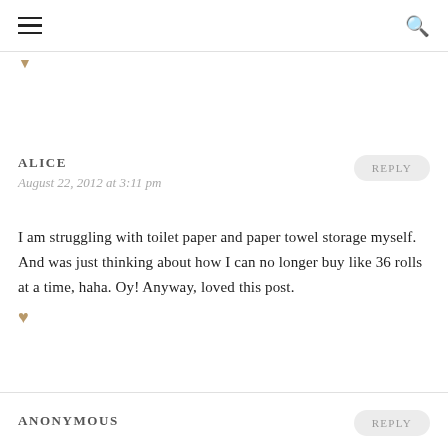☰ 🔍
♥
ALICE
August 22, 2012 at 3:11 pm
REPLY
I am struggling with toilet paper and paper towel storage myself. And was just thinking about how I can no longer buy like 36 rolls at a time, haha. Oy! Anyway, loved this post.
ANONYMOUS
REPLY